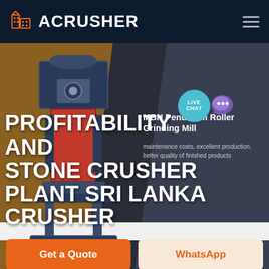ACRUSHER
PROFITABILITY AND STONE CRUSHER PLANT SRI LANKA CRUSHER
MBN Pendulum Roller Grinding Mill
maintenance costs, excellent production, better quality of finished products
HOME / PRODUCTS
[Figure (screenshot): LIVE CHAT bubble with chat icon]
[Figure (photo): Industrial stone crusher machine]
Get a Quote
WhatsApp